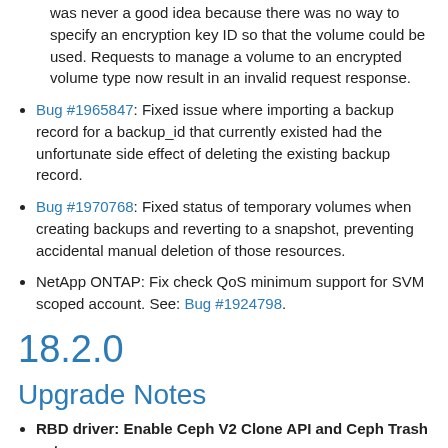was never a good idea because there was no way to specify an encryption key ID so that the volume could be used. Requests to manage a volume to an encrypted volume type now result in an invalid request response.
Bug #1965847: Fixed issue where importing a backup record for a backup_id that currently existed had the unfortunate side effect of deleting the existing backup record.
Bug #1970768: Fixed status of temporary volumes when creating backups and reverting to a snapshot, preventing accidental manual deletion of those resources.
NetApp ONTAP: Fix check QoS minimum support for SVM scoped account. See: Bug #1924798.
18.2.0
Upgrade Notes
RBD driver: Enable Ceph V2 Clone API and Ceph Trash auto purge
In light of the fix for RBD driver bug #1941815, we want to